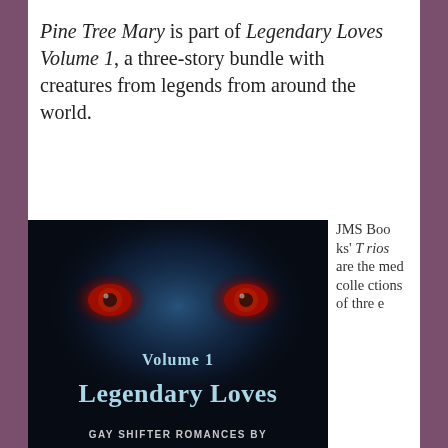Pine Tree Mary is part of Legendary Loves Volume 1, a three-story bundle with creatures from legends from around the world.
[Figure (photo): Book cover of 'Legendary Loves Volume 1' — dark background with glowing red eyes, text reads 'Volume 1 Legendary Loves GAY SHIFTER ROMANCES BY']
JMS Books' Trios are the med collections of three